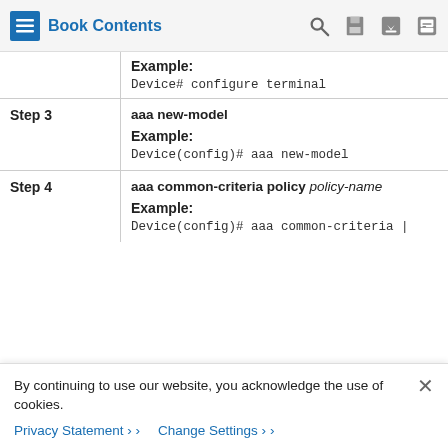Book Contents
| Step | Command/Description |
| --- | --- |
| (partial) | Example:
Device# configure terminal |
| Step 3 | aaa new-model
Example:
Device(config)# aaa new-model |
| Step 4 | aaa common-criteria policy policy-name
Example:
Device(config)# aaa common-criteria | |
By continuing to use our website, you acknowledge the use of cookies.
Privacy Statement > Change Settings >